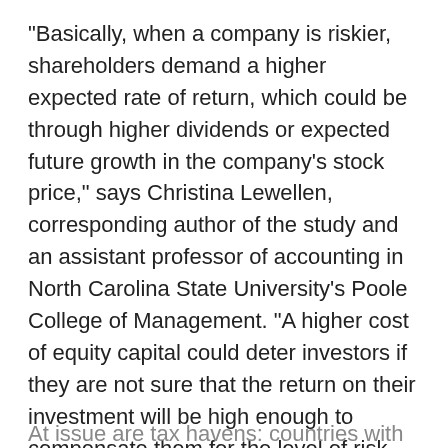“Basically, when a company is riskier, shareholders demand a higher expected rate of return, which could be through higher dividends or expected future growth in the company’s stock price,” says Christina Lewellen, corresponding author of the study and an assistant professor of accounting in North Carolina State University’s Poole College of Management. “A higher cost of equity capital could deter investors if they are not sure that the return on their investment will be high enough to compensate them for the level of risk. Therefore incorporating in a tax haven could curtail the benefits of moving to a tax haven in the first place.”
At issue are tax havens: countries with very low tax